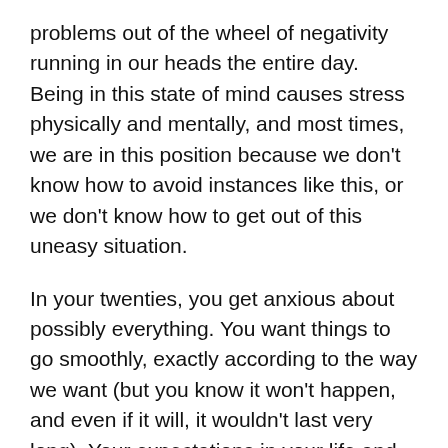problems out of the wheel of negativity running in our heads the entire day. Being in this state of mind causes stress physically and mentally, and most times, we are in this position because we don't know how to avoid instances like this, or we don't know how to get out of this uneasy situation.
In your twenties, you get anxious about possibly everything. You want things to go smoothly, exactly according to the way we want (but you know it won't happen, and even if it will, it wouldn't last very long). Your expectations in your life and the world you live in contribute a huge factor as to why you're always pressuring yourself to be everything to everybody. You want to make a difference in the lives of those around you, but you also want to be the best in your field no matter what it takes (and the harsh irony here is: you